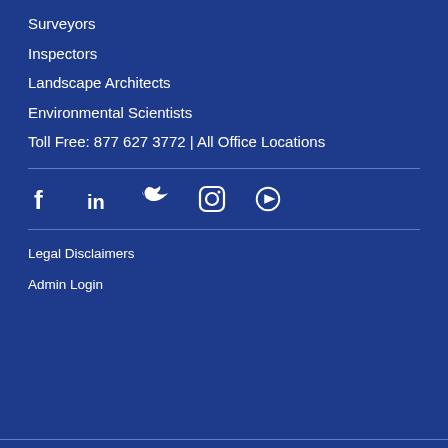Surveyors
Inspectors
Landscape Architects
Environmental Scientists
Toll Free: 877 627 3772 | All Office Locations
[Figure (infographic): Social media icons row: Facebook, LinkedIn, Twitter, Instagram, YouTube]
Legal Disclaimers
Admin Login